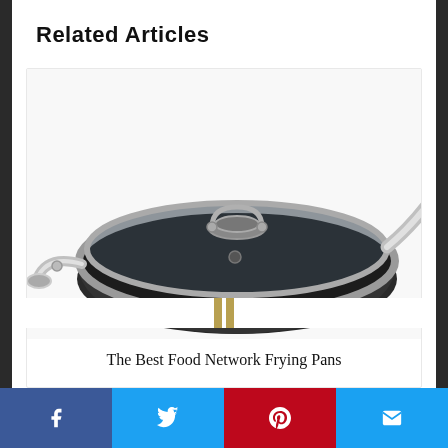Related Articles
[Figure (photo): A black hard-anodized non-stick frying pan with glass lid and stainless steel handles, viewed from a slight angle above.]
The Best Food Network Frying Pans
Facebook | Twitter | Pinterest | Email